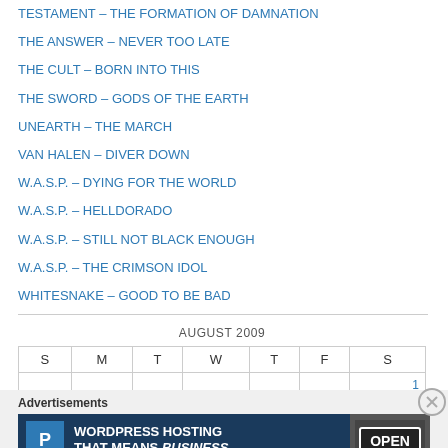TESTAMENT – THE FORMATION OF DAMNATION
THE ANSWER – NEVER TOO LATE
THE CULT – BORN INTO THIS
THE SWORD – GODS OF THE EARTH
UNEARTH – THE MARCH
VAN HALEN – DIVER DOWN
W.A.S.P. – DYING FOR THE WORLD
W.A.S.P. – HELLDORADO
W.A.S.P. – STILL NOT BLACK ENOUGH
W.A.S.P. – THE CRIMSON IDOL
WHITESNAKE – GOOD TO BE BAD
| S | M | T | W | T | F | S |
| --- | --- | --- | --- | --- | --- | --- |
|  |  |  |  |  |  | 1 |
Advertisements
[Figure (other): WordPress Hosting advertisement banner reading WORDPRESS HOSTING THAT MEANS BUSINESS. with P logo and OPEN sign photo]